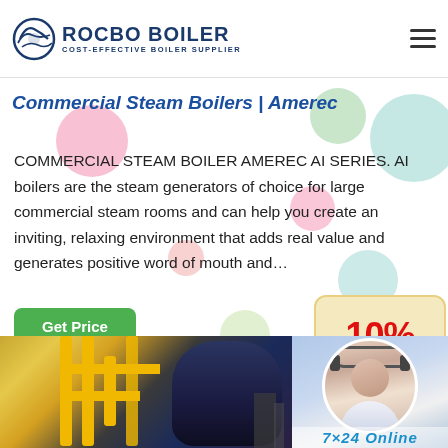ROCBO BOILER — COST-EFFECTIVE BOILER SUPPLIER
Commercial Steam Boilers | Amerec
COMMERCIAL STEAM BOILER AMEREC AI SERIES. AI boilers are the steam generators of choice for large commercial steam rooms and can help you create an inviting, relaxing environment that adds real value and generates positive word of mouth and…
[Figure (infographic): Green 'Get Price' button on left; 10% DISCOUNT badge on right with cream background]
[Figure (photo): Industrial boiler room with yellow pipes and large blue boiler equipment; customer service representative photo on right side]
7×24 Online